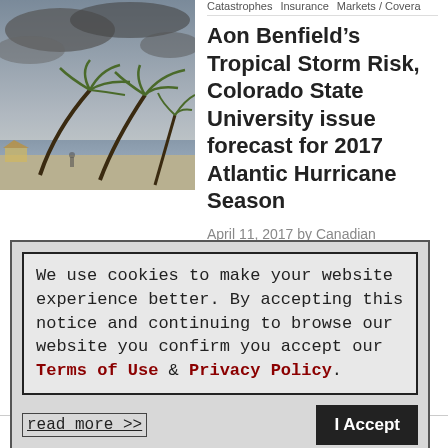[Figure (photo): Stormy beach scene with palm trees blowing in strong wind, dark cloudy sky]
Catastrophes   Insurance   Markets / Covera
Aon Benfield’s Tropical Storm Risk, Colorado State University issue forecast for 2017 Atlantic Hurricane Season
April 11, 2017 by Canadian Underwriter
We use cookies to make your website experience better. By accepting this notice and continuing to browse our website you confirm you accept our Terms of Use & Privacy Policy.

read more >>    I Accept
between the months of June